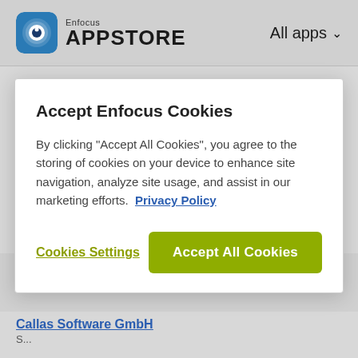Enfocus APPSTORE  All apps
TXT pickup
Metadata handling
100 $ / year
CSV2XML
Metadata handling
320 $
Accept Enfocus Cookies
By clicking "Accept All Cookies", you agree to the storing of cookies on your device to enhance site navigation, analyze site usage, and assist in our marketing efforts.  Privacy Policy
Cookies Settings
Accept All Cookies
Callas Software GmbH